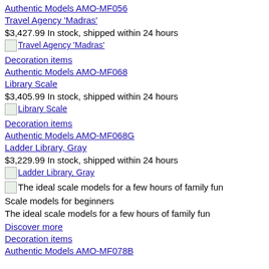Authentic Models AMO-MF056
Travel Agency 'Madras'
$3,427.99 In stock, shipped within 24 hours
[Figure (photo): Thumbnail image of Travel Agency 'Madras']
Decoration items
Authentic Models AMO-MF068
Library Scale
$3,405.99 In stock, shipped within 24 hours
[Figure (photo): Thumbnail image of Library Scale]
Decoration items
Authentic Models AMO-MF068G
Ladder Library, Gray
$3,229.99 In stock, shipped within 24 hours
[Figure (photo): Thumbnail image of Ladder Library, Gray]
[Figure (photo): Banner image: The ideal scale models for a few hours of family fun]
Scale models for beginners
The ideal scale models for a few hours of family fun
Discover more
Decoration items
Authentic Models AMO-MF078B